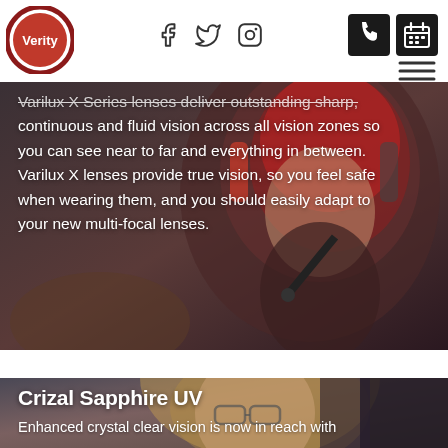[Figure (logo): Verity logo — circular badge with dark red border, white interior, red center circle with white 'Verity' text]
[Figure (infographic): Navigation bar with Facebook, Twitter, Instagram social icons and phone/calendar action buttons plus hamburger menu icon]
[Figure (photo): Person wearing a red driving/pilot helmet viewed close-up, dark background]
Varilux X Series lenses deliver outstanding sharp, continuous and fluid vision across all vision zones so you can see near to far and everything in between. Varilux X lenses provide true vision, so you feel safe when wearing them, and you should easily adapt to your new multi-focal lenses.
[Figure (photo): A blonde woman wearing glasses with a dark curtain background]
Crizal Sapphire UV
Enhanced crystal clear vision is now in reach with